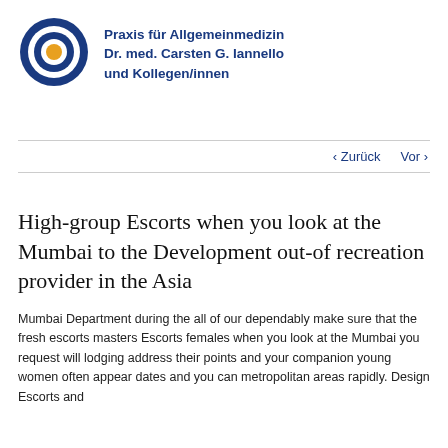[Figure (logo): Circular logo with concentric rings in dark blue and white, orange center dot, for Praxis für Allgemeinmedizin Dr. med. Carsten G. Iannello und Kollegen/innen]
Praxis für Allgemeinmedizin
Dr. med. Carsten G. Iannello
und Kollegen/innen
‹ Zurück   Vor ›
High-group Escorts when you look at the Mumbai to the Development out-of recreation provider in the Asia
Mumbai Department during the all of our dependably make sure that the fresh escorts masters Escorts females when you look at the Mumbai you request will lodging address their points and your companion young women often appear dates and you can metropolitan areas rapidly. Design Escorts and